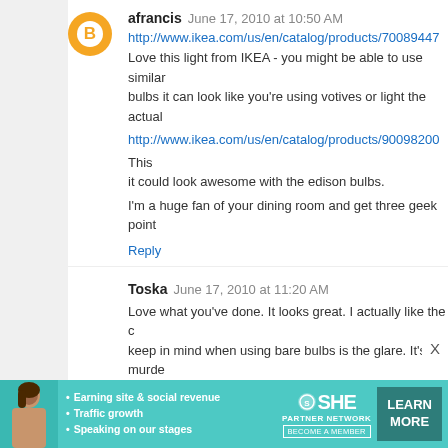afrancis  June 17, 2010 at 10:50 AM
http://www.ikea.com/us/en/catalog/products/70089447
Love this light from IKEA - you might be able to use similar bulbs it can look like you're using votives or light the actual
http://www.ikea.com/us/en/catalog/products/90098200 This it could look awesome with the edison bulbs.
I'm a huge fan of your dining room and get three geek point
Reply
Toska  June 17, 2010 at 11:20 AM
Love what you've done. It looks great. I actually like the c keep in mind when using bare bulbs is the glare. It's murde bulb in your line of site. My advice would be to see one of t you may regret.
Reply
Ekio Locatiare  June 17, 2010 at 11:26 AM
Stunning! Can't wait to see what you come up with fo
[Figure (infographic): SHE Partner Network advertisement banner with photo, bullet points, logo, and Learn More button]